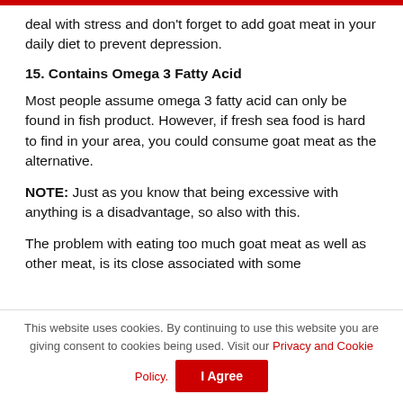deal with stress and don't forget to add goat meat in your daily diet to prevent depression.
15. Contains Omega 3 Fatty Acid
Most people assume omega 3 fatty acid can only be found in fish product. However, if fresh sea food is hard to find in your area, you could consume goat meat as the alternative.
NOTE: Just as you know that being excessive with anything is a disadvantage, so also with this.
The problem with eating too much goat meat as well as other meat, is its close associated with some
This website uses cookies. By continuing to use this website you are giving consent to cookies being used. Visit our Privacy and Cookie Policy. I Agree